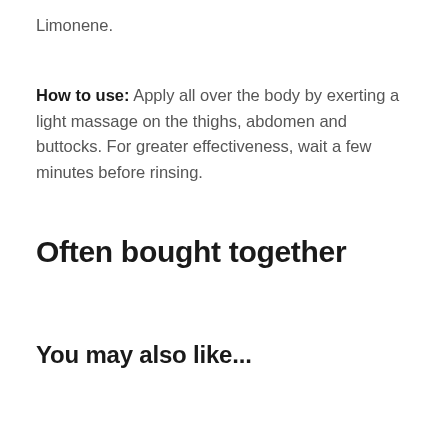Limonene.
How to use: Apply all over the body by exerting a light massage on the thighs, abdomen and buttocks. For greater effectiveness, wait a few minutes before rinsing.
Often bought together
You may also like...